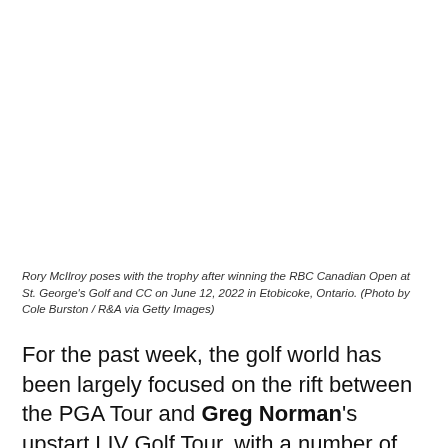[Figure (photo): Rory McIlroy poses with the trophy after winning the RBC Canadian Open at St. George's Golf and CC on June 12, 2022 in Etobicoke, Ontario. (Image area appears blank/white in this crop)]
Rory McIlroy poses with the trophy after winning the RBC Canadian Open at St. George's Golf and CC on June 12, 2022 in Etobicoke, Ontario. (Photo by Cole Burston / R&A via Getty Images)
For the past week, the golf world has been largely focused on the rift between the PGA Tour and Greg Norman's upstart LIV Golf Tour, with a number of prominent players resigning from the former in favor of the guaranteed money offered by the latter.